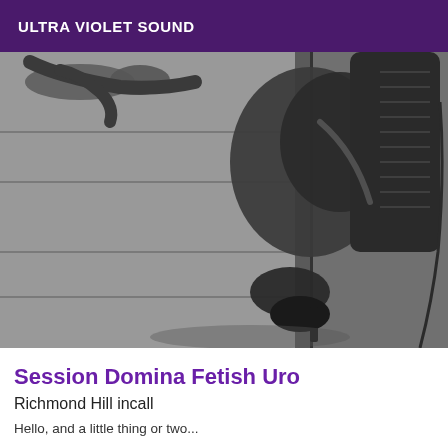ULTRA VIOLET SOUND
[Figure (photo): Black and white photograph of a person in dark leather/latex clothing and high-heeled boots, positioned on the floor near wooden furniture. The image is taken from above, showing an overhead perspective.]
Session Domina Fetish Uro
Richmond Hill incall
Hello, and a little thing or two...